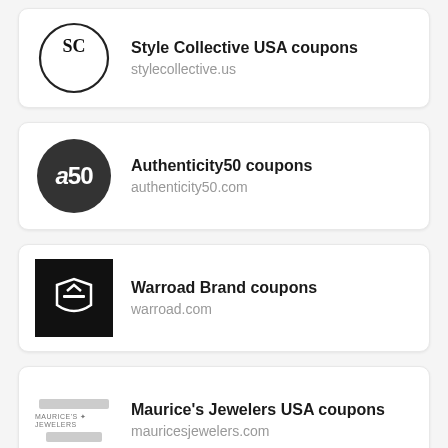Style Collective USA coupons
stylecollective.us
Authenticity50 coupons
authenticity50.com
Warroad Brand coupons
warroad.com
Maurice's Jewelers USA coupons
mauricesjewelers.com
(partial card, cut off)